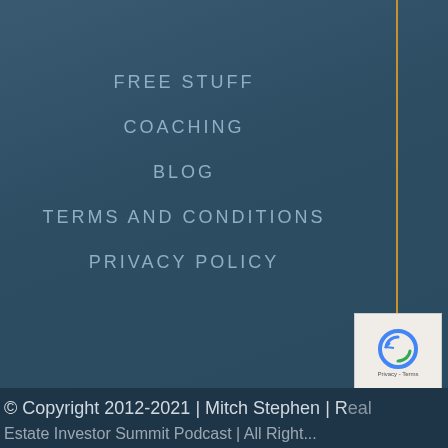FREE STUFF
COACHING
BLOG
TERMS AND CONDITIONS
PRIVACY POLICY
[Figure (illustration): Social media icons: Facebook, LinkedIn, YouTube, Twitter — circular beige/tan icons on dark blue background]
[Figure (other): reCAPTCHA Privacy - Terms badge in bottom right corner]
© Copyright 2012-2021 | Mitch Stephen | Real Estate Investor Summit Podcast | All Rights...